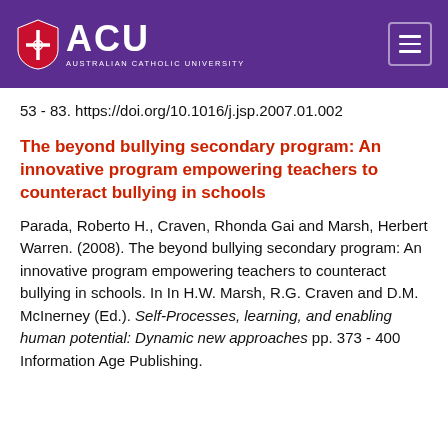[Figure (logo): ACU (Australian Catholic University) logo with shield icon on purple background header with hamburger menu icon]
53 - 83. https://doi.org/10.1016/j.jsp.2007.01.002
The beyond bullying secondary program: An innovative program empowering teachers to counteract bullying in schools
Parada, Roberto H., Craven, Rhonda Gai and Marsh, Herbert Warren. (2008). The beyond bullying secondary program: An innovative program empowering teachers to counteract bullying in schools. In In H.W. Marsh, R.G. Craven and D.M. McInerney (Ed.). Self-Processes, learning, and enabling human potential: Dynamic new approaches pp. 373 - 400 Information Age Publishing.